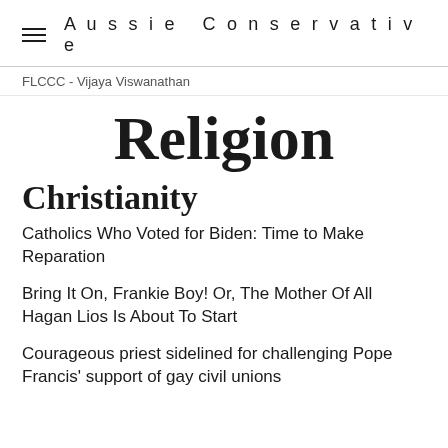Aussie Conservative
FLCCC - Vijaya Viswanathan
Religion
Christianity
Catholics Who Voted for Biden: Time to Make Reparation
Bring It On, Frankie Boy! Or, The Mother Of All Hagan Lios Is About To Start
Courageous priest sidelined for challenging Pope Francis' support of gay civil unions